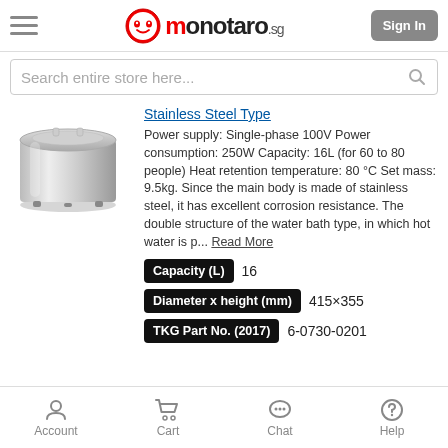monotaro.sg | Sign In
Search entire store here...
[Figure (photo): Stainless steel rice warmer/soup pot, cylindrical shape with lid, viewed from slightly above]
Stainless Steel Type
Power supply: Single-phase 100V Power consumption: 250W Capacity: 16L (for 60 to 80 people) Heat retention temperature: 80 °C Set mass: 9.5kg. Since the main body is made of stainless steel, it has excellent corrosion resistance. The double structure of the water bath type, in which hot water is p... Read More
Capacity (L)  16
Diameter x height (mm)  415×355
TKG Part No. (2017)  6-0730-0201
Account  Cart  Chat  Help